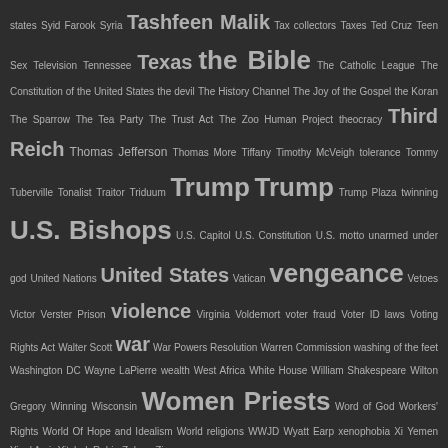states Syid Farook Syria Tashfeen Malik Tax collectors Taxes Ted Cruz Teen Sex Television Tennessee Texas the Bible The Catholic League The Constitution of the United States the devil The History Channel The Joy of the Gospel the Koran The Sparrow The Tea Party The Trust Act The Zoo Human Project theocracy Third Reich Thomas Jefferson Thomas More Tiffany Timothy McVeigh tolerance Tommy Tuberville Tonalist Traitor Triduum Trump Trump Trump Plaza twinning U.S. Bishops U.S. Capitol U.S. Constitution U.S. motto unarmed under god United Nations United States Vatican vengeance Vetoes Victor Verster Prison violence Virginia Voldemort voter fraud Voter ID laws Voting Rights Act Walter Scott war War Powers Resolution Warren Commission washing of the feet Washington DC Wayne LaPierre wealth West Africa White House William Shakespeare Wilton Gregory Winning Wisconsin Women Priests Word of God Workers' Rights World Of Hope and Idealism World religions WWJD Wyatt Earp xenophobia Xi Yemen Yigal Amir Yitzhak Rabin Zelaya Zimmerman
RSS Feed
Updated 9/1/21
Viewing
© 2010 William Messenger Contact Me